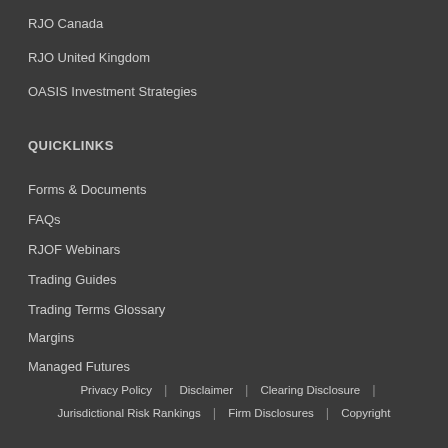RJO Canada
RJO United Kingdom
OASIS Investment Strategies
QUICKLINKS
Forms & Documents
FAQs
RJOF Webinars
Trading Guides
Trading Terms Glossary
Margins
Managed Futures
Privacy Policy | Disclaimer | Clearing Disclosure | Jurisdictional Risk Rankings | Firm Disclosures | Copyright